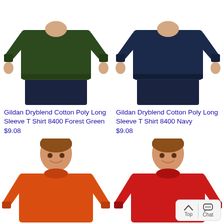[Figure (photo): Man wearing dark forest green long sleeve Gildan Dryblend 8400 shirt, cropped at waist, no face visible]
Gildan Dryblend Cotton Poly Long Sleeve T Shirt 8400 Forest Green
$9.08
[Figure (photo): Man wearing navy blue long sleeve Gildan Dryblend 8400 shirt, cropped at waist, no face visible]
Gildan Dryblend Cotton Poly Long Sleeve T Shirt 8400 Navy
$9.08
[Figure (photo): Smiling young man wearing orange long sleeve Gildan Dryblend 8400 shirt, full upper body visible]
[Figure (photo): Smiling young man wearing red long sleeve Gildan Dryblend 8400 shirt, full upper body visible]